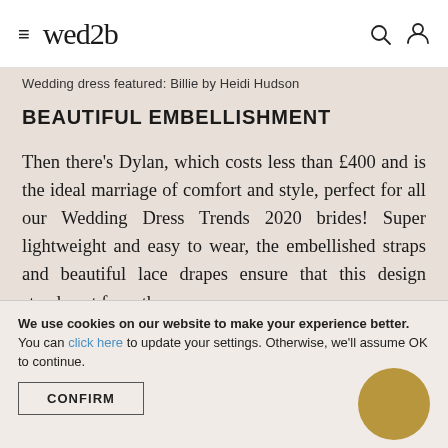wed2b
Wedding dress featured: Billie by Heidi Hudson
BEAUTIFUL EMBELLISHMENT
Then there's Dylan, which costs less than £400 and is the ideal marriage of comfort and style, perfect for all our Wedding Dress Trends 2020 brides! Super lightweight and easy to wear, the embellished straps and beautiful lace drapes ensure that this design stands out from the
We use cookies on our website to make your experience better. You can click here to update your settings. Otherwise, we'll assume OK to continue.